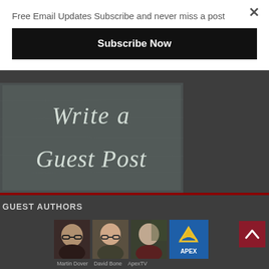Free Email Updates Subscribe and never miss a post
Subscribe Now
[Figure (photo): Chalkboard with text 'Write a Guest Post' written in chalk lettering]
GUEST AUTHORS
[Figure (photo): Four guest author thumbnails: first person with glasses, Martin Dover, David Bone, ApexTV logo]
Martin Dover  David Bone  ApexTV